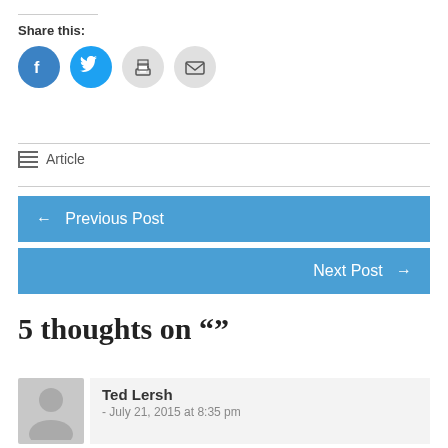Share this:
[Figure (infographic): Four social share icon buttons: Facebook (blue circle), Twitter (blue circle), Print (grey circle), Email (grey circle)]
Article
← Previous Post
Next Post →
5 thoughts on ""
Ted Lersh - July 21, 2015 at 8:35 pm